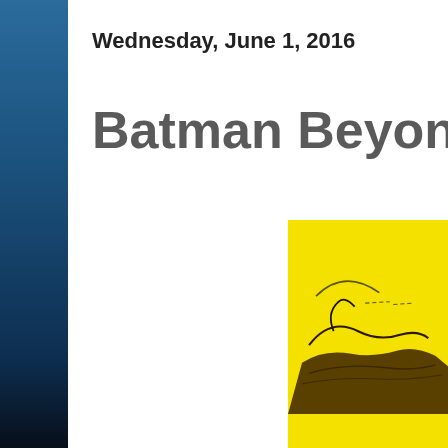Wednesday, June 1, 2016
Batman Beyond #13
[Figure (illustration): Comic book cover for Batman Beyond #13, showing Batman's head in yellow background with dark curved line art suggesting Batman's cowl and ears]